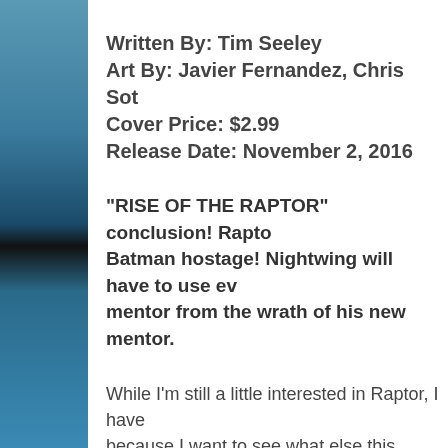Written By: Tim Seeley
Art By: Javier Fernandez, Chris Sot
Cover Price: $2.99
Release Date: November 2, 2016
“RISE OF THE RAPTOR” conclusion! Rapto… Batman hostage! Nightwing will have to use ev… mentor from the wrath of his new mentor.
While I'm still a little interested in Raptor, I have… because I want to see what else this series has in… been enjoying myself with what we've been getti…